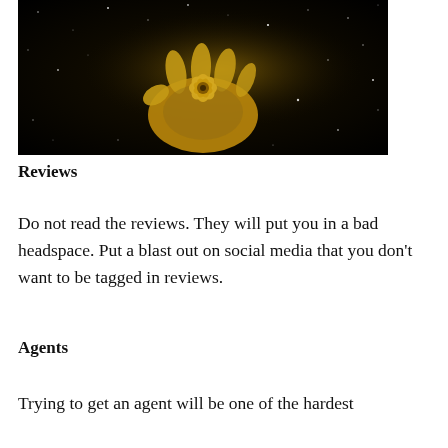[Figure (photo): A golden human hand holding a golden rose or flower, set against a dark starry black background. The hand and flower are illuminated with a warm gold tone.]
Reviews
Do not read the reviews. They will put you in a bad headspace. Put a blast out on social media that you don't want to be tagged in reviews.
Agents
Trying to get an agent will be one of the hardest